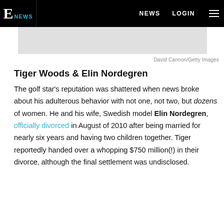E NEWS | NEWS | LOGIN
[Figure (photo): Light gray image placeholder (photo of Tiger Woods and Elin Nordegren, cropped)]
David Cannon/Getty Images
Tiger Woods & Elin Nordegren
The golf star's reputation was shattered when news broke about his adulterous behavior with not one, not two, but dozens of women. He and his wife, Swedish model Elin Nordegren, officially divorced in August of 2010 after being married for nearly six years and having two children together. Tiger reportedly handed over a whopping $750 million(!) in their divorce, although the final settlement was undisclosed.